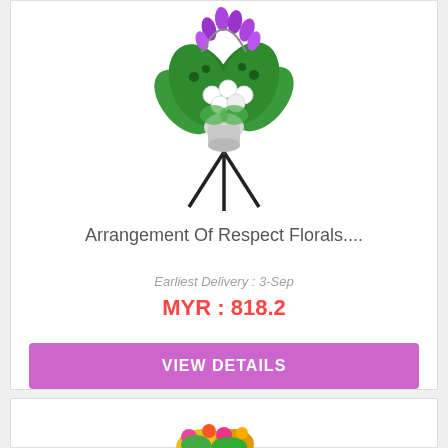[Figure (photo): A floral arrangement on a tall stand with purple orchids, white round flowers, and large green monstera leaves displayed on a tripod stand]
Arrangement Of Respect Florals....
Earliest Delivery : 3-Sep
MYR : 818.2
VIEW DETAILS
[Figure (photo): Partial view of another floral arrangement at the bottom of the page]